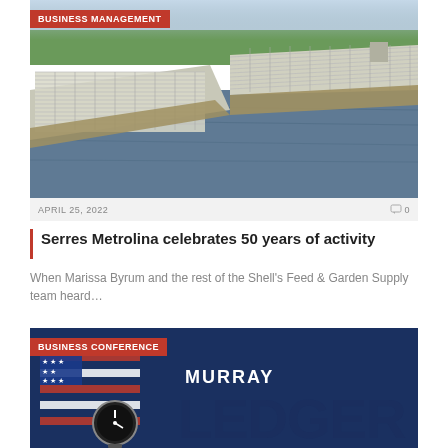[Figure (photo): Aerial view of greenhouse facility surrounded by water, showing large glass greenhouse structures on a peninsula]
BUSINESS MANAGEMENT
APRIL 25, 2022   0
Serres Metrolina celebrates 50 years of activity
When Marissa Byrum and the rest of the Shell's Feed & Garden Supply team heard...
[Figure (photo): Murray Ledger newspaper logo with American flag and clock imagery, dark blue background]
BUSINESS CONFERENCE